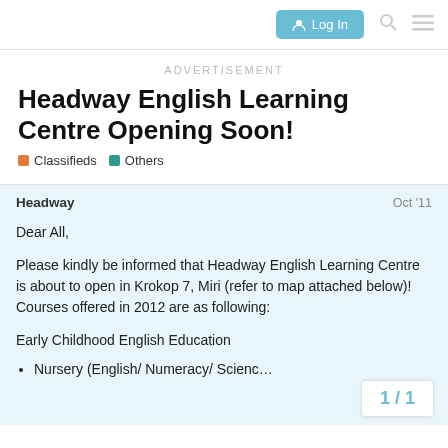Log In
ADVERTISEMENT
Headway English Learning Centre Opening Soon!
Classifieds  Others
Headway  Oct '11
Dear All,

Please kindly be informed that Headway English Learning Centre is about to open in Krokop 7, Miri (refer to map attached below)! Courses offered in 2012 are as following:

Early Childhood English Education
Nursery (English/ Numeracy/ Science…